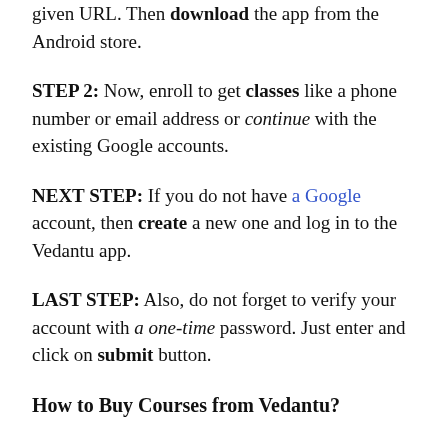given URL. Then download the app from the Android store.
STEP 2: Now, enroll to get classes like a phone number or email address or continue with the existing Google accounts.
NEXT STEP: If you do not have a Google account, then create a new one and log in to the Vedantu app.
LAST STEP: Also, do not forget to verify your account with a one-time password. Just enter and click on submit button.
How to Buy Courses from Vedantu?